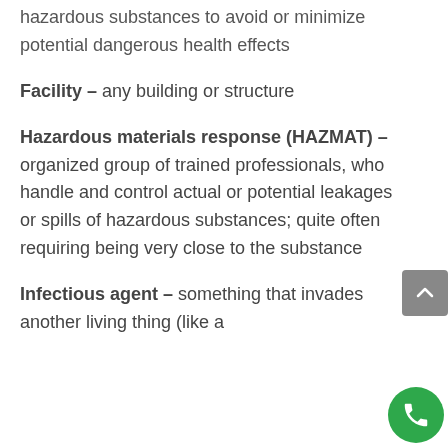hazardous substances to avoid or minimize potential dangerous health effects
Facility – any building or structure
Hazardous materials response (HAZMAT) – organized group of trained professionals, who handle and control actual or potential leakages or spills of hazardous substances; quite often requiring being very close to the substance
Infectious agent – something that invades another living thing (like a